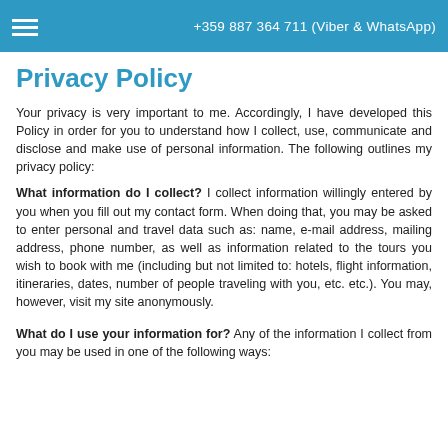+359 887 364 711 (Viber & WhatsApp)
Privacy Policy
Your privacy is very important to me. Accordingly, I have developed this Policy in order for you to understand how I collect, use, communicate and disclose and make use of personal information. The following outlines my privacy policy:
What information do I collect? I collect information willingly entered by you when you fill out my contact form. When doing that, you may be asked to enter personal and travel data such as: name, e-mail address, mailing address, phone number, as well as information related to the tours you wish to book with me (including but not limited to: hotels, flight information, itineraries, dates, number of people traveling with you, etc. etc.). You may, however, visit my site anonymously.
What do I use your information for? Any of the information I collect from you may be used in one of the following ways: